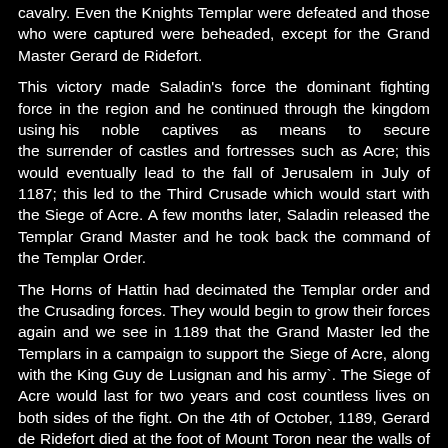cavalry. Even the Knights Templar were defeated and those who were captured were beheaded, except for the Grand Master Gerard de Ridefort.
This victory made Saladin's force the dominant fighting force in the region and he continued through the kingdom using his noble captives as means to secure the surrender of castles and fortresses such as Acre; this would eventually lead to the fall of Jerusalem in July of 1187; this led to the Third Crusade which would start with the Siege of Acre. A few months later, Saladin released the Templar Grand Master and he took back the command of the Templar Order.
The Horns of Hattin had decimated the Templar order and the Crusading forces. They would begin to grow their forces again and we see in 1189 that the Grand Master led the Templars in a campaign to support the Siege of Acre, along with the King Guy de Lusignan and his army`. The Siege of Acre would last for two years and cost countless lives on both sides of the fight. On the 4th of October, 1189, Gerard de Ridefort died at the foot of Mount Toron near the walls of Acre. Some sources claim he died in the battle against Saladin...